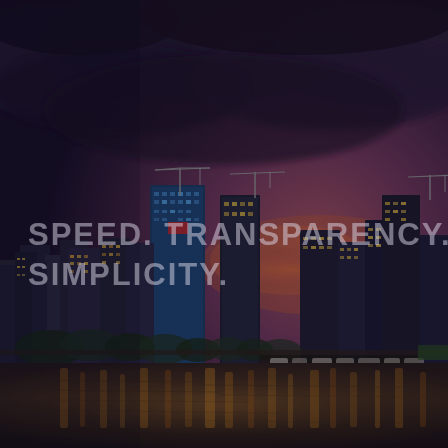[Figure (photo): Aerial dusk/twilight view of a city skyline (Miami) with tall skyscrapers and cranes under construction, warm golden lights reflecting on a waterfront, dramatic purple and dark storm clouds above. The image has a darkened, moody tone.]
SPEED. TRANSPARENCY. SIMPLICITY.